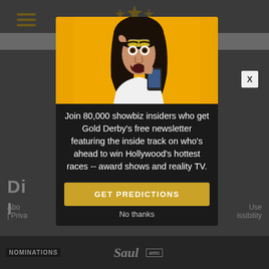[Figure (screenshot): Website background with gray header, hamburger menu in gold, gold star decoration at top center, gray navigation bar, partially visible page content including large title text and footer navigation links (About, Privacy, Use, Accessibility)]
[Figure (photo): Modal popup with photo of surprised woman with dark hair holding a phone against orange/yellow background]
Join 80,000 showbiz insiders who get Gold Derby's free newsletter featuring the inside track on who's ahead to win Hollywood's hottest races -- award shows and reality TV.
GET PREDICTIONS
No thanks